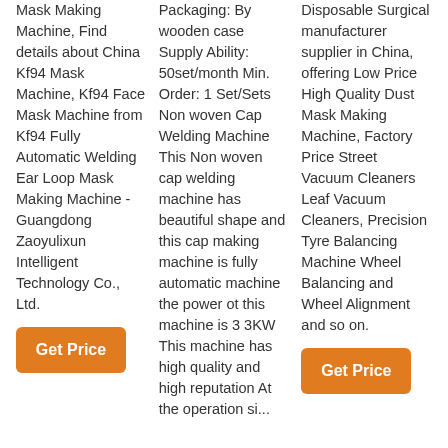Mask Making Machine, Find details about China Kf94 Mask Machine, Kf94 Face Mask Machine from Kf94 Fully Automatic Welding Ear Loop Mask Making Machine - Guangdong Zaoyulixun Intelligent Technology Co., Ltd.
Get Price
Packaging: By wooden case Supply Ability: 50set/month Min. Order: 1 Set/Sets Non woven Cap Welding Machine This Non woven cap welding machine has beautiful shape and this cap making machine is fully automatic machine the power ot this machine is 3 3KW This machine has high quality and high reputation At the operation si...
Disposable Surgical manufacturer supplier in China, offering Low Price High Quality Dust Mask Making Machine, Factory Price Street Vacuum Cleaners Leaf Vacuum Cleaners, Precision Tyre Balancing Machine Wheel Balancing and Wheel Alignment and so on.
Get Price